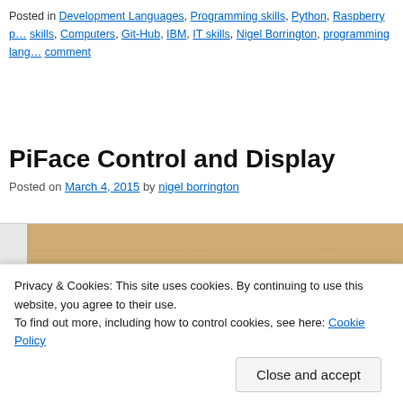Posted in Development Languages, Programming skills, Python, Raspberry pi skills, Computers, Git-Hub, IBM, IT skills, Nigel Borrington, programming languages. comment
PiFace Control and Display
Posted on March 4, 2015 by nigel borrington
[Figure (photo): Photo of a PiFace Control and Display circuit board with green PCB, knobs and components, on a wooden surface background]
Privacy & Cookies: This site uses cookies. By continuing to use this website, you agree to their use. To find out more, including how to control cookies, see here: Cookie Policy
Close and accept